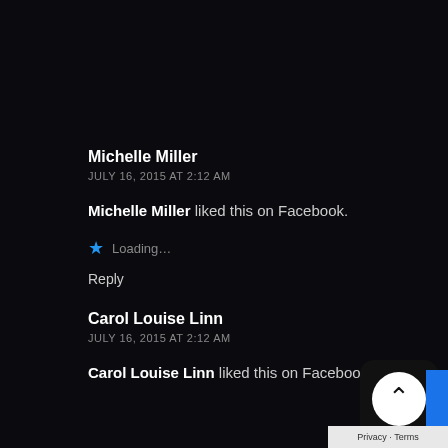Michelle Miller
JULY 16, 2015 AT 2:12 AM
Michelle Miller liked this on Facebook.
Loading...
Reply
Carol Louise Linn
JULY 16, 2015 AT 2:12 AM
Carol Louise Linn liked this on Facebook.